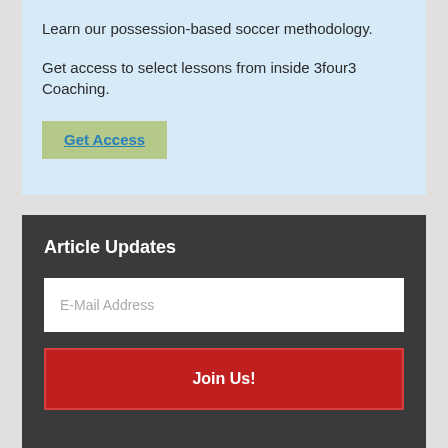Learn our possession-based soccer methodology.
Get access to select lessons from inside 3four3 Coaching.
Get Access
Article Updates
E-Mail Address
Join Us!